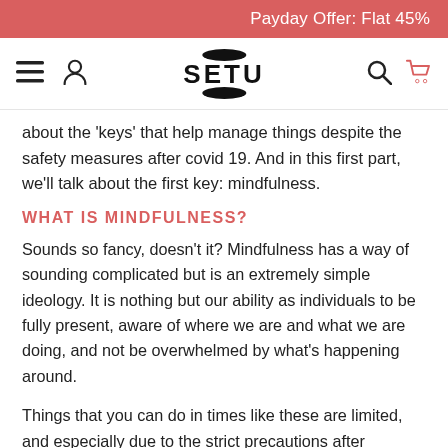Payday Offer: Flat 45%
[Figure (logo): SETU brand logo with navigation icons: hamburger menu, user account icon, SETU logo with oval symbol, search icon, and shopping cart icon in red]
about the 'keys' that help manage things despite the safety measures after covid 19. And in this first part, we'll talk about the first key: mindfulness.
WHAT IS MINDFULNESS?
Sounds so fancy, doesn't it? Mindfulness has a way of sounding complicated but is an extremely simple ideology. It is nothing but our ability as individuals to be fully present, aware of where we are and what we are doing, and not be overwhelmed by what's happening around.
Things that you can do in times like these are limited, and especially due to the strict precautions after